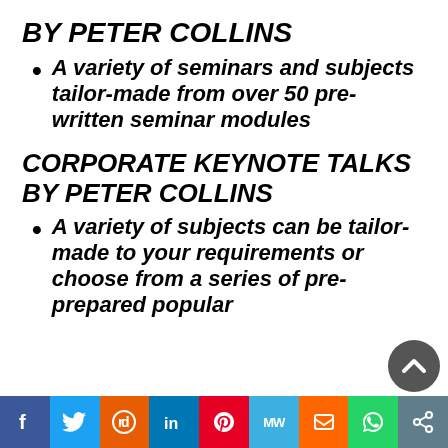BY PETER COLLINS
A variety of seminars and subjects tailor-made from over 50 pre-written seminar modules
CORPORATE KEYNOTE TALKS BY PETER COLLINS
A variety of subjects can be tailor-made to your requirements or choose from a series of pre-prepared popular